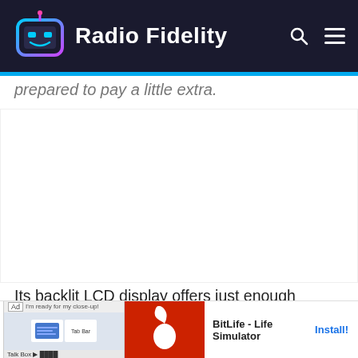Radio Fidelity
prepared to pay a little extra.
[Figure (other): Advertisement placeholder space]
Its backlit LCD display offers just enough information about the status of the radio and the track that's playing, station, any a mode
[Figure (screenshot): Ad banner for BitLife - Life Simulator game with red background and sperm logo icon. Shows 'Ad' label, app icon, 'BitLife - Life Simulator' title, and 'Install!' button.]